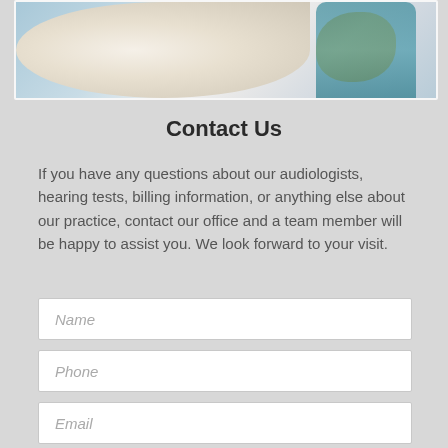[Figure (photo): Close-up anatomical model of the human ear showing cream-colored outer ear structure with yellow ossicles and teal/blue inner ear components against a light blue background.]
Contact Us
If you have any questions about our audiologists, hearing tests, billing information, or anything else about our practice, contact our office and a team member will be happy to assist you. We look forward to your visit.
Name
Phone
Email
Message